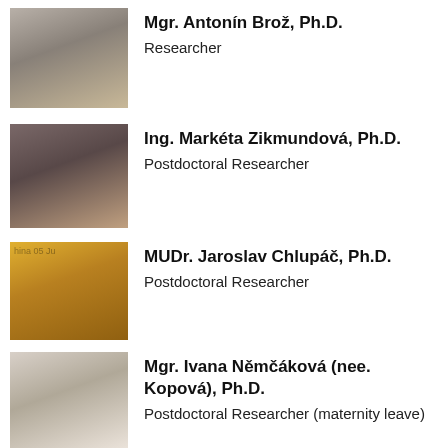[Figure (photo): Photo of Mgr. Antonín Brož, Ph.D.]
Mgr. Antonín Brož, Ph.D.
Researcher
[Figure (photo): Photo of Ing. Markéta Zikmundová, Ph.D.]
Ing. Markéta Zikmundová, Ph.D.
Postdoctoral Researcher
[Figure (photo): Photo of MUDr. Jaroslav Chlupáč, Ph.D.]
MUDr. Jaroslav Chlupáč, Ph.D.
Postdoctoral Researcher
[Figure (photo): Photo of Mgr. Ivana Němčáková (nee. Kopová), Ph.D.]
Mgr. Ivana Němčáková (nee. Kopová), Ph.D.
Postdoctoral Researcher (maternity leave)
[Figure (photo): Photo of Ing. Jana Zárubová (nee. Havlíková), Ph.D.]
Ing. Jana Zárubová (nee. Havlíková), Ph.D.
Postdoctoral Researcher
[Figure (photo): Photo of Andreu Blanquer Jerez, Ph.D.]
Andreu Blanquer Jerez, Ph.D.